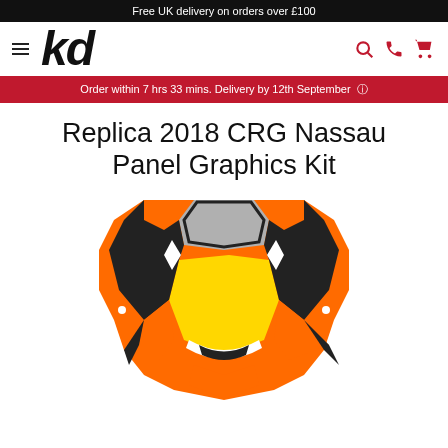Free UK delivery on orders over £100
[Figure (logo): KD logo with hamburger menu and navigation icons (search, phone, cart) in red]
Order within 7 hrs 33 mins. Delivery by 12th September
Replica 2018 CRG Nassau Panel Graphics Kit
[Figure (illustration): CRG Nassau kart front panel graphic kit illustration with orange, yellow, black and white design]